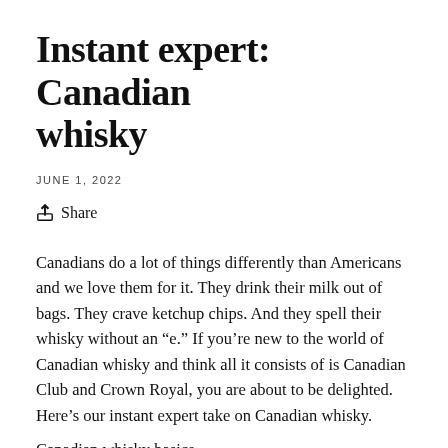Instant expert: Canadian whisky
JUNE 1, 2022
Share
Canadians do a lot of things differently than Americans and we love them for it. They drink their milk out of bags. They crave ketchup chips. And they spell their whisky without an "e." If you're new to the world of Canadian whisky and think all it consists of is Canadian Club and Crown Royal, you are about to be delighted. Here's our instant expert take on Canadian whisky.
Canadian whisky basics